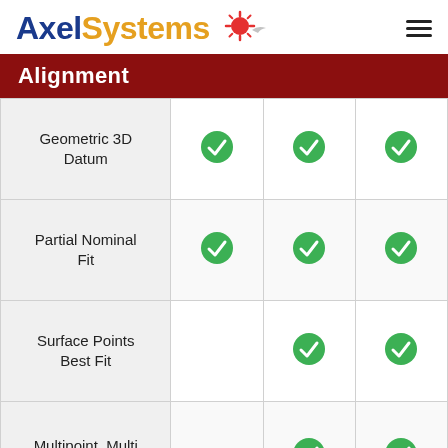AxelSystems
Alignment
| Feature | Tier 1 | Tier 2 | Tier 3 |
| --- | --- | --- | --- |
| Geometric 3D Datum | ✓ | ✓ | ✓ |
| Partial Nominal Fit | ✓ | ✓ | ✓ |
| Surface Points Best Fit |  | ✓ | ✓ |
| Multipoint, Multi Entity Best Fit |  | ✓ | ✓ |
| RPS Datum |  | ✓ | ✓ |
| Best Fit from |  |  | ✓ |